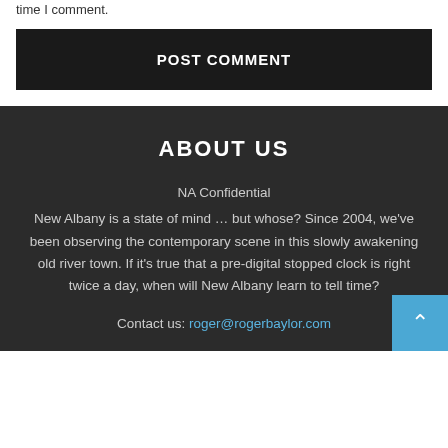time I comment.
POST COMMENT
ABOUT US
NA Confidential
New Albany is a state of mind … but whose? Since 2004, we've been observing the contemporary scene in this slowly awakening old river town. If it's true that a pre-digital stopped clock is right twice a day, when will New Albany learn to tell time?
Contact us: roger@rogerbaylor.com